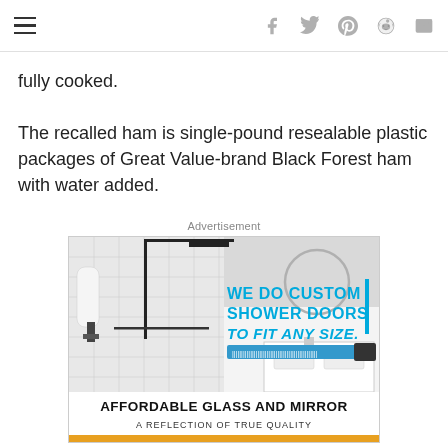Navigation and social sharing icons (hamburger menu, facebook, twitter, pinterest, reddit, email)
fully cooked.
The recalled ham is single-pound resealable plastic packages of Great Value-brand Black Forest ham with water added.
Advertisement
[Figure (photo): Advertisement for Affordable Glass and Mirror showing a custom shower installation with text 'WE DO CUSTOM SHOWER DOORS TO FIT ANY SIZE.' and tagline 'AFFORDABLE GLASS AND MIRROR — A REFLECTION OF TRUE QUALITY']